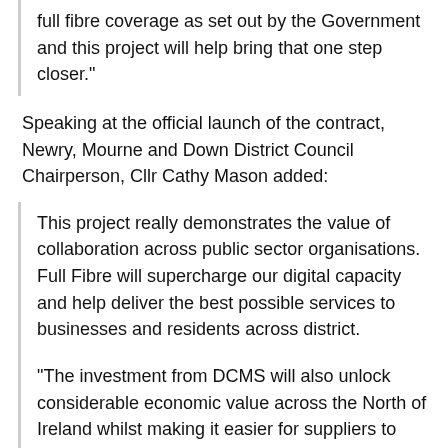full fibre coverage as set out by the Government and this project will help bring that one step closer."
Speaking at the official launch of the contract, Newry, Mourne and Down District Council Chairperson, Cllr Cathy Mason added:
This project really demonstrates the value of collaboration across public sector organisations. Full Fibre will supercharge our digital capacity and help deliver the best possible services to businesses and residents across district.
"The investment from DCMS will also unlock considerable economic value across the North of Ireland whilst making it easier for suppliers to provide full fibre to nearby businesses and residential properties, so the positive impact will be even more far reaching once complete."